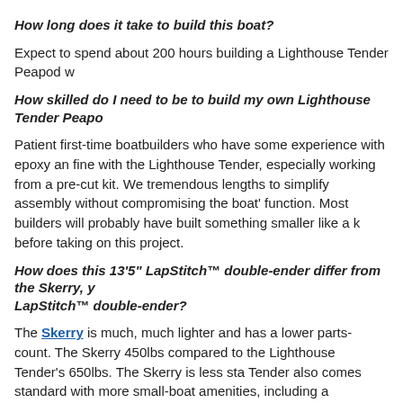How long does it take to build this boat?
Expect to spend about 200 hours building a Lighthouse Tender Peapod w
How skilled do I need to be to build my own Lighthouse Tender Peapo
Patient first-time boatbuilders who have some experience with epoxy and fine with the Lighthouse Tender, especially working from a pre-cut kit. We tremendous lengths to simplify assembly without compromising the boat's function. Most builders will probably have built something smaller like a k before taking on this project.
How does this 13'5" LapStitch™ double-ender differ from the Skerry, y LapStitch™ double-ender?
The Skerry is much, much lighter and has a lower parts-count. The Skerry 450lbs compared to the Lighthouse Tender's 650lbs. The Skerry is less sta Tender also comes standard with more small-boat amenities, including a "spacered inwales," and spiled floorboards.
"Seaworthiness" is a slippery term, but all things being equal, the Lightho is more "seaworthy." It depends on the skill of the crew, of course. Caugh a skipper with sophisticated small boat sailing skills will be safer in the Sk will be in the Peapod...
The Skerry is longer; why is it cheaper than the Peapod?